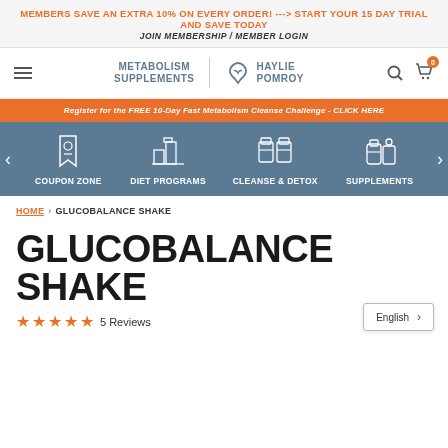MEMBERS SAVE AN EXTRA 10% ON EVERY ORDER! ---> START YOUR 15 DAY TRIAL AND SAVE TODAY
JOIN MEMBERSHIP / MEMBER LOGIN
[Figure (logo): Metabolism Supplements | Haylie Pomroy logo with hamburger menu, search and cart icons]
Register for the FREE 10-Day Fast Metabolism Cleanse Challenge - CLICK HERE
[Figure (infographic): Navigation tiles: COUPON ZONE, DIET PROGRAMS, CLEANSE & DETOX, SUPPLEMENTS with icons on blue-grey background]
HOME › GLUCOBALANCE SHAKE
GLUCOBALANCE SHAKE
★★★★★ 5 Reviews